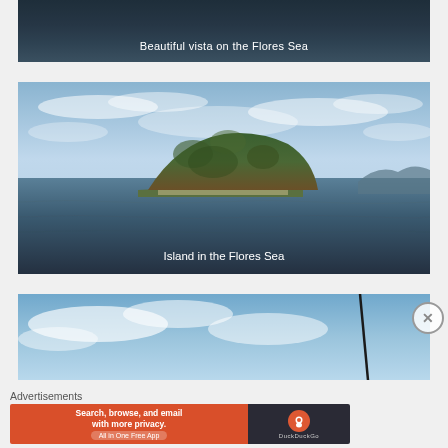[Figure (photo): Partial photo of Flores Sea ocean view with dark blue water, caption reads 'Beautiful vista on the Flores Sea']
Beautiful vista on the Flores Sea
[Figure (photo): Photo of a lush green island rising from calm dark blue sea water under a cloudy sky in the Flores Sea, caption reads 'Island in the Flores Sea']
Island in the Flores Sea
[Figure (photo): Partial photo showing blue sky with clouds and a boat mast visible on the right side]
Advertisements
[Figure (screenshot): DuckDuckGo advertisement banner: 'Search, browse, and email with more privacy. All in One Free App' with DuckDuckGo logo on dark right panel]